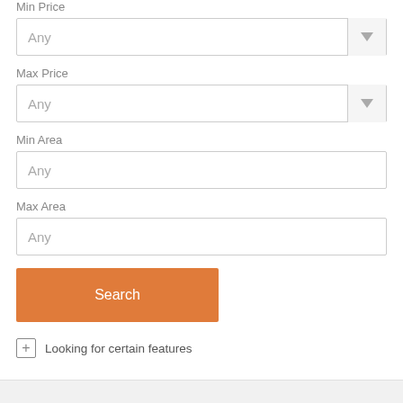Min Price
Any
Max Price
Any
Min Area
Any
Max Area
Any
Search
Looking for certain features
Calculate Mortgage Payments